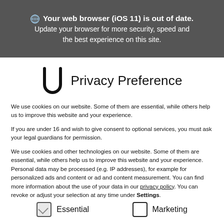Your web browser (iOS 11) is out of date. Update your browser for more security, speed and the best experience on this site.
Privacy Preference
We use cookies on our website. Some of them are essential, while others help us to improve this website and your experience.
If you are under 16 and wish to give consent to optional services, you must ask your legal guardians for permission.
We use cookies and other technologies on our website. Some of them are essential, while others help us to improve this website and your experience. Personal data may be processed (e.g. IP addresses), for example for personalized ads and content or ad and content measurement. You can find more information about the use of your data in our privacy policy. You can revoke or adjust your selection at any time under Settings.
Essential
Marketing